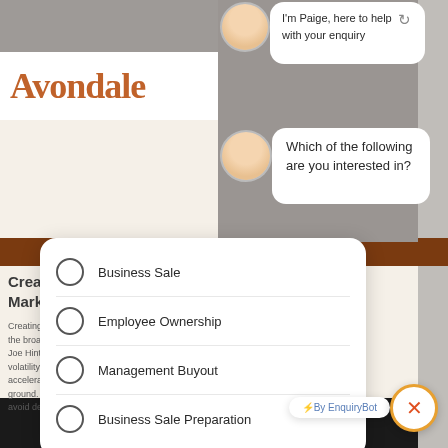[Figure (screenshot): Screenshot of a website chatbot overlay on the Avondale website. The chat widget shows an avatar of a woman named Paige with the message 'I'm Paige, here to help with your enquiry', then a second message 'Which of the following are you interested in?' followed by four radio button options: Business Sale, Employee Ownership, Management Buyout, Business Sale Preparation. Behind the widget is the Avondale website with its logo, a brown accent bar, partially visible heading 'Creating C... Markets –', and body text starting with 'Creating Com...'. At the bottom is an EnquiryBot badge and a close button. A keyboard photo is visible at the very bottom.]